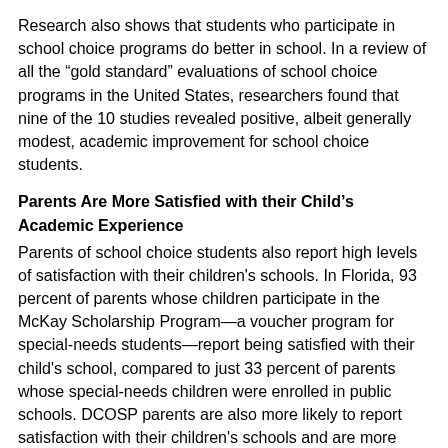Research also shows that students who participate in school choice programs do better in school. In a review of all the "gold standard" evaluations of school choice programs in the United States, researchers found that nine of the 10 studies revealed positive, albeit generally modest, academic improvement for school choice students.
Parents Are More Satisfied with their Child's Academic Experience
Parents of school choice students also report high levels of satisfaction with their children's schools. In Florida, 93 percent of parents whose children participate in the McKay Scholarship Program—a voucher program for special-needs students—report being satisfied with their child's school, compared to just 33 percent of parents whose special-needs children were enrolled in public schools. DCOSP parents are also more likely to report satisfaction with their children's schools and are more likely to describe their schools as safe. And Milwaukee school choice parents also report high satisfaction rates with the schools their children attend.
Education comes in many forms—from private school choice to